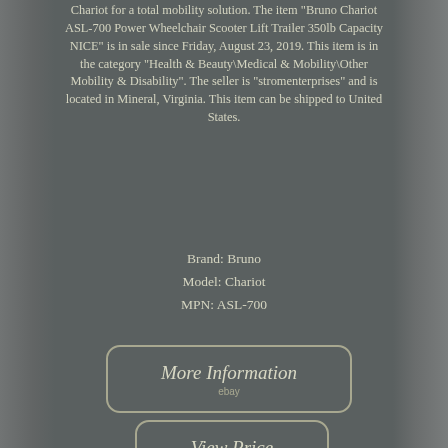Chariot for a total mobility solution. The item "Bruno Chariot ASL-700 Power Wheelchair Scooter Lift Trailer 350lb Capacity NICE" is in sale since Friday, August 23, 2019. This item is in the category "Health & Beauty\Medical & Mobility\Other Mobility & Disability". The seller is "stromenterprises" and is located in Mineral, Virginia. This item can be shipped to United States.
Brand: Bruno
Model: Chariot
MPN: ASL-700
[Figure (other): Button with italic text 'More Information' and 'ebay' label below, inside a rounded rectangle border]
[Figure (other): Button with italic text 'View Price' and 'ebay' label below, inside a rounded rectangle border]